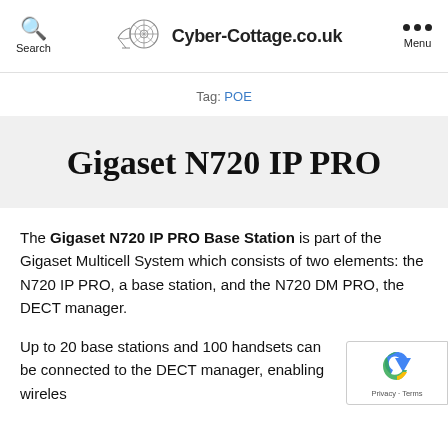Search | Cyber-Cottage.co.uk | Menu
Tag: POE
Gigaset N720 IP PRO
The Gigaset N720 IP PRO Base Station is part of the Gigaset Multicell System which consists of two elements: the N720 IP PRO, a base station, and the N720 DM PRO, the DECT manager.
Up to 20 base stations and 100 handsets can be connected to the DECT manager, enabling wireless mobility throughout the workplace, improving the